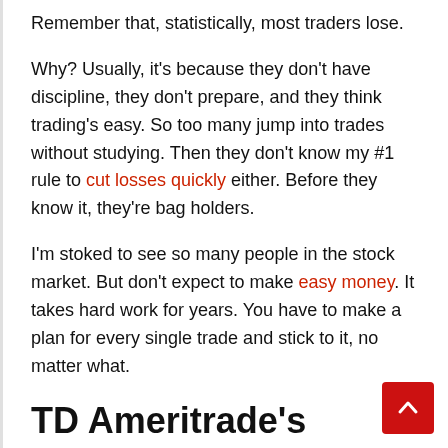Remember that, statistically, most traders lose.
Why? Usually, it's because they don't have discipline, they don't prepare, and they think trading's easy. So too many jump into trades without studying. Then they don't know my #1 rule to cut losses quickly either. Before they know it, they're bag holders.
I'm stoked to see so many people in the stock market. But don't expect to make easy money. It takes hard work for years. You have to make a plan for every single trade and stick to it, no matter what.
TD Ameritrade's